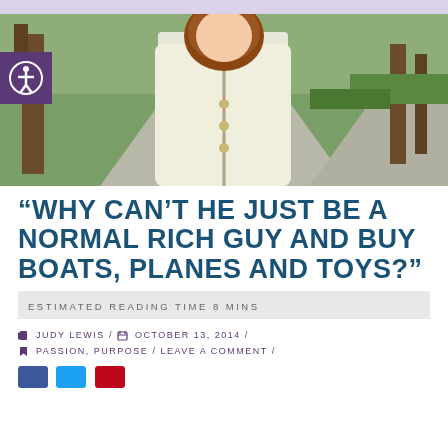[Figure (photo): Woman in cream/white cardigan with pearl necklace walking along a park pathway with green trees and grass in the background]
“WHY CAN’T HE JUST BE A NORMAL RICH GUY AND BUY BOATS, PLANES AND TOYS?”
ESTIMATED READING TIME 8 MINS
JUDY LEWIS / OCTOBER 13, 2014 / PASSION, PURPOSE / LEAVE A COMMENT /